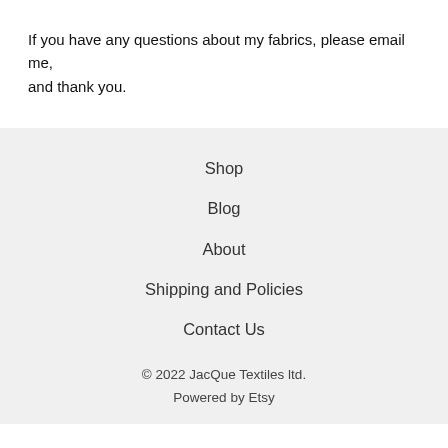If you have any questions about my fabrics, please email me, and thank you.
Shop
Blog
About
Shipping and Policies
Contact Us
© 2022 JacQue Textiles ltd.
Powered by Etsy